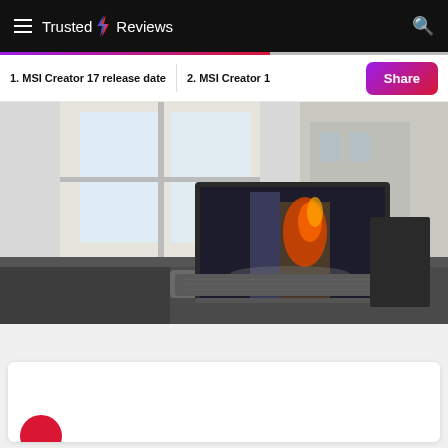Trusted Reviews
1. MSI Creator 17 release date
2. MSI Creator 1
[Figure (photo): MSI Creator laptop open on a dark table, screen displaying artistic fish/flame image, bright window background]
[Figure (other): Bottom card with partial red circle logo visible]